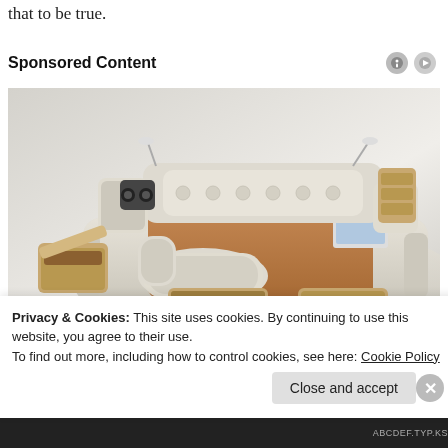that to be true.
Sponsored Content
[Figure (photo): A luxurious multifunctional smart bed with built-in speakers, storage drawers, massage chair, laptop stand, and reading lights.]
Privacy & Cookies: This site uses cookies. By continuing to use this website, you agree to their use.
To find out more, including how to control cookies, see here: Cookie Policy
Close and accept